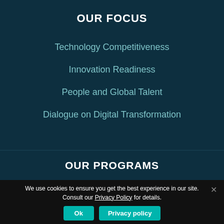OUR FOCUS
Technology Competitiveness
Innovation Readiness
People and Global Talent
Dialogue on Digital Transformation
OUR PROGRAMS
We use cookies to ensure you get the best experience in our site. Consult our Privacy Policy for details.